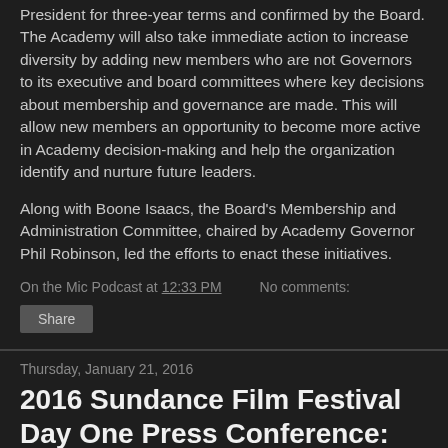President for three-year terms and confirmed by the Board. The Academy will also take immediate action to increase diversity by adding new members who are not Governors to its executive and board committees where key decisions about membership and governance are made. This will allow new members an opportunity to become more active in Academy decision-making and help the organization identify and nurture future leaders.
Along with Boone Isaacs, the Board's Membership and Administration Committee, chaired by Academy Governor Phil Robinson, led the efforts to enact these initiatives.
On the Mic Podcast at 12:33 PM    No comments:
Share
Thursday, January 21, 2016
2016 Sundance Film Festival Day One Press Conference: LIVE STREAM
The 2016 Sundance Film Festival kicks off today in Park City, Utah! I'm so glad to be back at the festival this year, Producing shows with former podcast guest Richie T. Steadman for X96's Radio From Hell, he or usually...